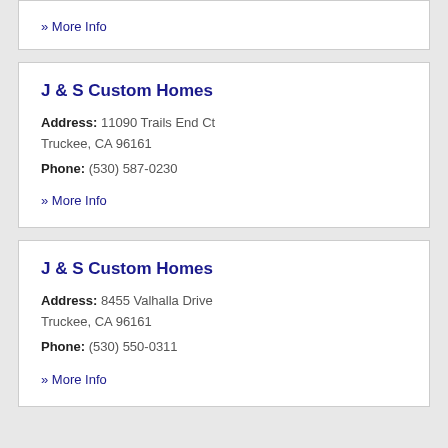» More Info
J & S Custom Homes
Address: 11090 Trails End Ct Truckee, CA 96161
Phone: (530) 587-0230
» More Info
J & S Custom Homes
Address: 8455 Valhalla Drive Truckee, CA 96161
Phone: (530) 550-0311
» More Info